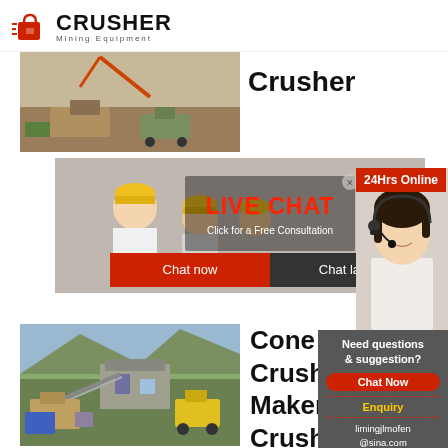[Figure (logo): Crusher Mining Equipment logo with red shopping bag icon and bold CRUSHER text]
[Figure (photo): Mining equipment/crusher machinery aerial view photo]
Crusher
[Figure (photo): Live chat overlay with workers in hard hats, LIVE CHAT text in red, Click for a Free Consultation text, Chat now and Chat later buttons]
[Figure (photo): Customer service representative with headset - 24Hrs Online badge]
[Figure (infographic): Need questions & suggestion panel with Chat Now button, Enquiry link, and limingjlmofen@sina.com email]
[Figure (photo): Cone crusher / construction site machinery photo]
Cone Crusher Maker Crush